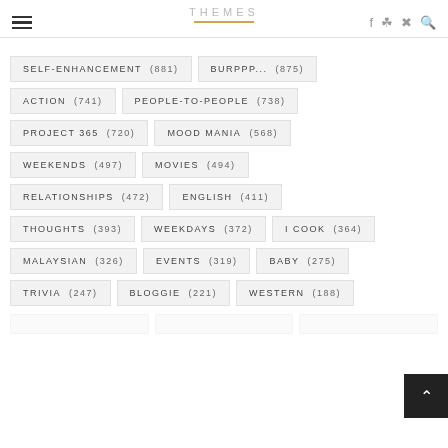THEMES
SELF-ENHANCEMENT (881)
BURPPP... (875)
ACTION (741)
PEOPLE-TO-PEOPLE (738)
PROJECT 365 (720)
MOOD MANIA (568)
WEEKENDS (497)
MOVIES (494)
RELATIONSHIPS (472)
ENGLISH (411)
THOUGHTS (393)
WEEKDAYS (372)
I COOK (364)
MALAYSIAN (326)
EVENTS (319)
BABY (275)
TRIVIA (247)
BLOGGIE (221)
WESTERN (188)